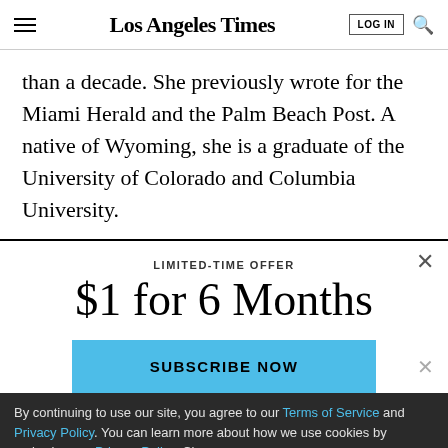Los Angeles Times
than a decade. She previously wrote for the Miami Herald and the Palm Beach Post. A native of Wyoming, she is a graduate of the University of Colorado and Columbia University.
LIMITED-TIME OFFER
$1 for 6 Months
SUBSCRIBE NOW
By continuing to use our site, you agree to our Terms of Service and Privacy Policy. You can learn more about how we use cookies by reviewing our Privacy Policy. Close